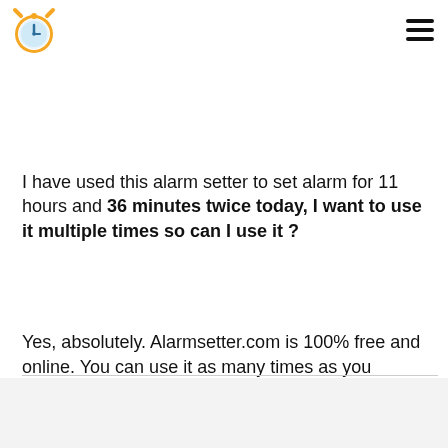Alarm setter logo and navigation menu
I have used this alarm setter to set alarm for 11 hours and 36 minutes twice today, I want to use it multiple times so can I use it ?
Yes, absolutely. Alarmsetter.com is 100% free and online. You can use it as many times as you require